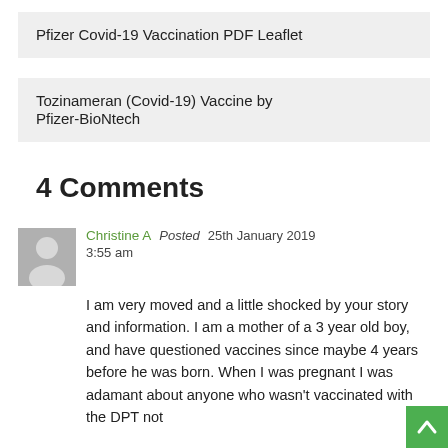Pfizer Covid-19 Vaccination PDF Leaflet
Tozinameran (Covid-19) Vaccine by Pfizer-BioNtech
4 Comments
Christine A   Posted 25th January 2019
3:55 am
I am very moved and a little shocked by your story and information. I am a mother of a 3 year old boy, and have questioned vaccines since maybe 4 years before he was born. When I was pregnant I was adamant about anyone who wasn't vaccinated with the DPT not